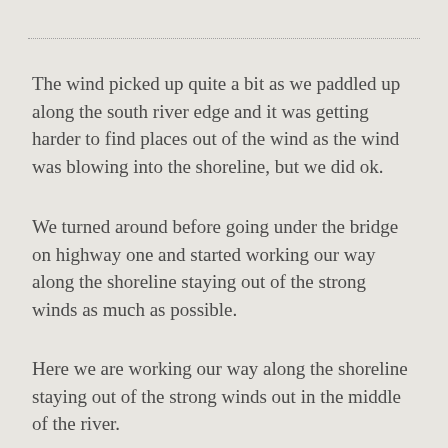The wind picked up quite a bit as we paddled up along the south river edge and it was getting harder to find places out of the wind as the wind was blowing into the shoreline, but we did ok.
We turned around before going under the bridge on highway one and started working our way along the shoreline staying out of the strong winds as much as possible.
Here we are working our way along the shoreline staying out of the strong winds out in the middle of the river.